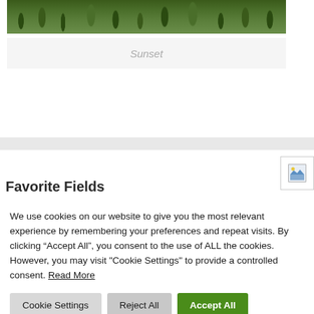[Figure (photo): Top portion of a nature photo showing green shrubs and vegetation against a dark background]
Sunset
[Figure (screenshot): Website UI showing a gray horizontal bar and a navigation image icon button in the top right corner, plus a partially visible heading]
We use cookies on our website to give you the most relevant experience by remembering your preferences and repeat visits. By clicking “Accept All”, you consent to the use of ALL the cookies. However, you may visit "Cookie Settings" to provide a controlled consent. Read More
Cookie Settings
Reject All
Accept All